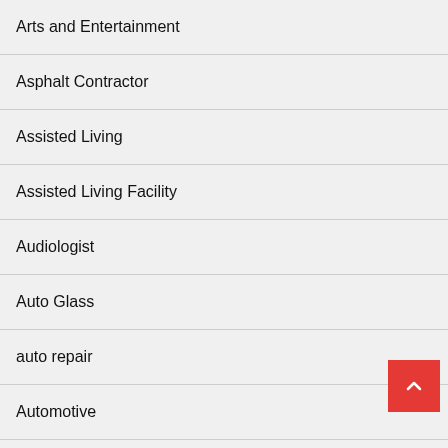Arts and Entertainment
Asphalt Contractor
Assisted Living
Assisted Living Facility
Audiologist
Auto Glass
auto repair
Automotive
Baby Fansi...